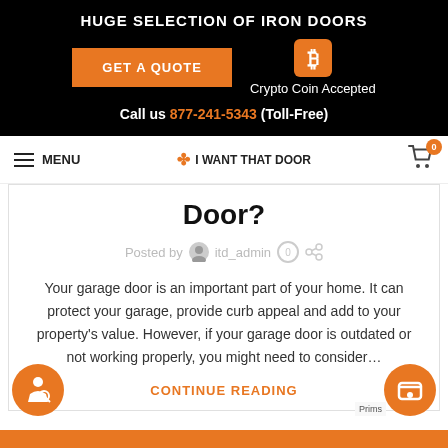HUGE SELECTION OF IRON DOORS
GET A QUOTE
Crypto Coin Accepted
Call us 877-241-5343 (Toll-Free)
MENU  ✤ I WANT THAT DOOR  0
Door?
Posted by  itd_admin  0
Your garage door is an important part of your home. It can protect your garage, provide curb appeal and add to your property's value. However, if your garage door is outdated or not working properly, you might need to consider...
CONTINUE READING